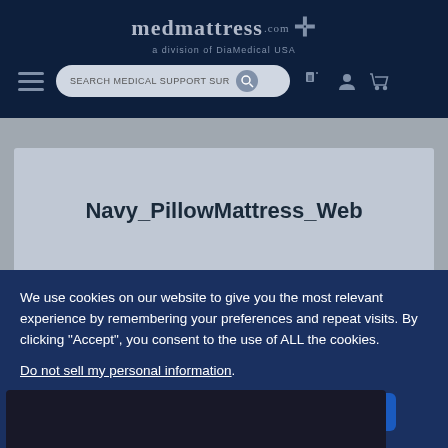[Figure (screenshot): medmattress.com website header with logo, search bar, and navigation icons on dark navy background]
Navy_PillowMattress_Web
We use cookies on our website to give you the most relevant experience by remembering your preferences and repeat visits. By clicking "Accept", you consent to the use of ALL the cookies.
Do not sell my personal information.
Cookie Settings
Accept